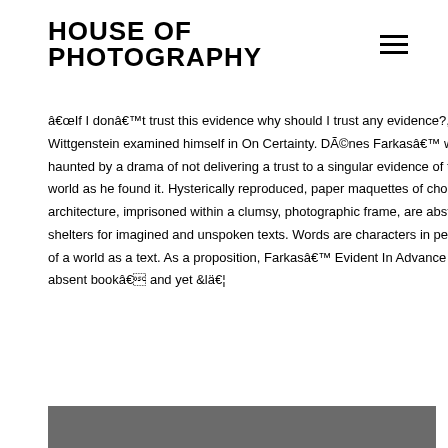HOUSE OF PHOTOGRAPHY
â€œIf I donâ€™t trust this evidence why should I trust any evidence?,â€ Wittgenstein examined himself in On Certainty. DÃ©nes Farkasâ€™ work is haunted by a drama of not delivering a trust to a singular evidence of this world, a world as he found it. Hysterically reproduced, paper maquettes of choreographed architecture, imprisoned within a clumsy, photographic frame, are abstract shelters for imagined and unspoken texts. Words are characters in performance of a world as a text. As a proposition, Farkasâ€™ Evident In Advance is â€œan absent bookâ€ and yet &lä€¦
[Figure (photo): Dark grey/charcoal colored image strip at the bottom of the page]